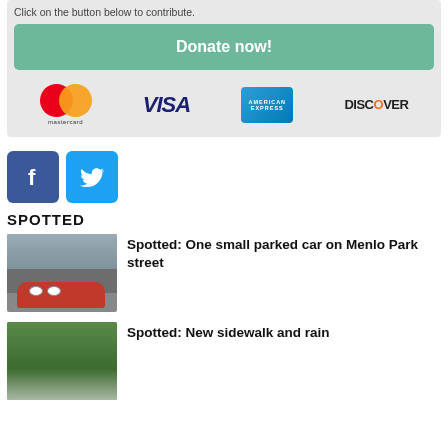Click on the button below to contribute.
[Figure (other): Donate now! button with payment method logos: Mastercard, VISA, American Express, Discover]
[Figure (other): Facebook and Twitter social media icon buttons]
SPOTTED
[Figure (photo): Photo of a small red toy car (Lightning McQueen) parked on a street]
Spotted: One small parked car on Menlo Park street
[Figure (photo): Photo thumbnail for second spotted article]
Spotted: New sidewalk and rain